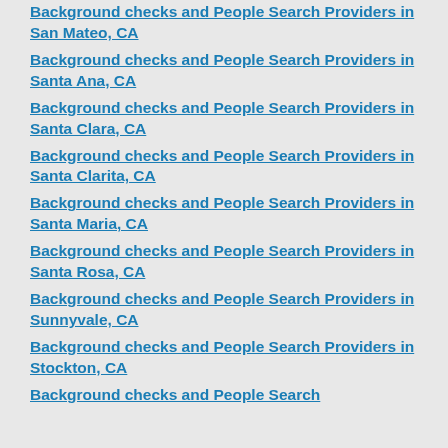Background checks and People Search Providers in San Mateo, CA
Background checks and People Search Providers in Santa Ana, CA
Background checks and People Search Providers in Santa Clara, CA
Background checks and People Search Providers in Santa Clarita, CA
Background checks and People Search Providers in Santa Maria, CA
Background checks and People Search Providers in Santa Rosa, CA
Background checks and People Search Providers in Sunnyvale, CA
Background checks and People Search Providers in Stockton, CA
Background checks and People Search Providers in [partial]